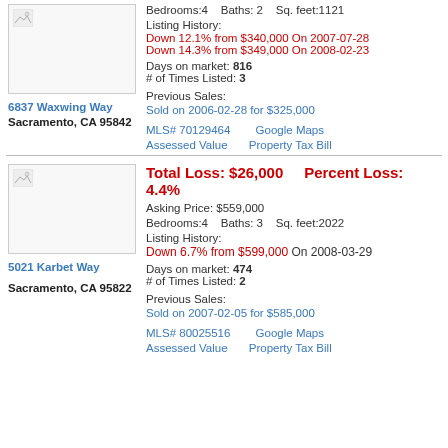Bedrooms:4   Baths: 2   Sq. feet:1121
Listing History:
Down 12.1% from $340,000 On 2007-07-28
Down 14.3% from $349,000 On 2008-02-23
Days on market: 816
# of Times Listed: 3
Previous Sales:
Sold on 2006-02-28 for $325,000
MLS# 70129464    Google Maps
Assessed Value    Property Tax Bill
6837 Waxwing Way
Sacramento, CA 95842
Total Loss: $26,000    Percent Loss: 4.4%
Asking Price: $559,000
Bedrooms:4   Baths: 3   Sq. feet:2022
Listing History:
Down 6.7% from $599,000 On 2008-03-29
Days on market: 474
# of Times Listed: 2
Previous Sales:
Sold on 2007-02-05 for $585,000
MLS# 80025516    Google Maps
Assessed Value    Property Tax Bill
5021 Karbet Way
Sacramento, CA 95822